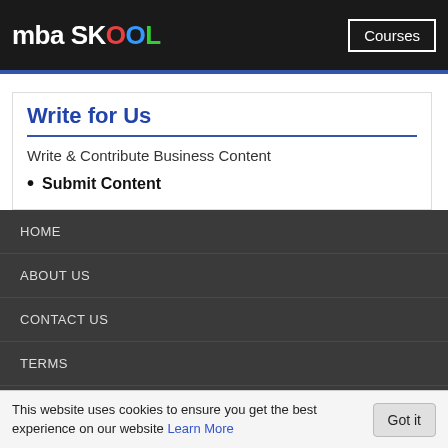mba SKOOL   Courses
Write for Us
Write & Contribute Business Content
Submit Content
HOME
ABOUT US
CONTACT US
TERMS
PRIVACY POLICY
CONTRIBUTE CONTENT
This website uses cookies to ensure you get the best experience on our website Learn More   Got it